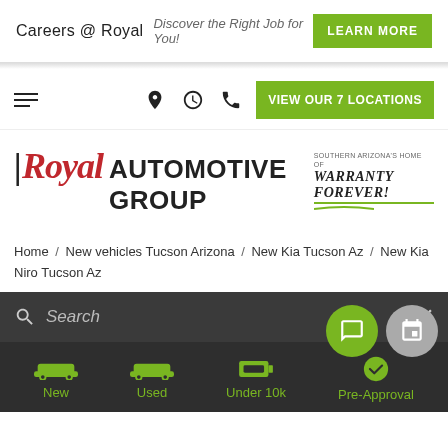Careers @ Royal  Discover the Right Job for You!  LEARN MORE
[Figure (screenshot): Navigation bar with hamburger menu, location pin icon, clock icon, phone icon, and green VIEW OUR 7 LOCATIONS button]
[Figure (logo): Royal Automotive Group logo with red italic Royal text, black AUTOMOTIVE GROUP text, and Warranty Forever badge on right]
Home / New vehicles Tucson Arizona / New Kia Tucson Az / New Kia Niro Tucson Az
[Figure (screenshot): Search bar on dark background with search icon and italic Search placeholder text and X close button, with green chat bubble and gray message bubble overlay buttons]
[Figure (screenshot): Dark bottom navigation bar with four green icons and labels: New (car icon), Used (car icon), Under 10k (tag icon), Pre-Approval (checkmark icon)]